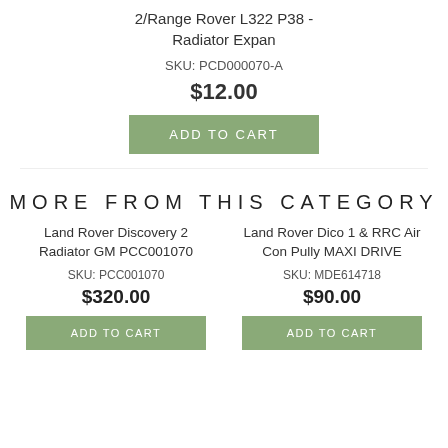2/Range Rover L322 P38 - Radiator Expan
SKU: PCD000070-A
$12.00
ADD TO CART
MORE FROM THIS CATEGORY
Land Rover Discovery 2 Radiator GM PCC001070
SKU: PCC001070
$320.00
ADD TO CART
Land Rover Dico 1 & RRC Air Con Pully MAXI DRIVE
SKU: MDE614718
$90.00
ADD TO CART